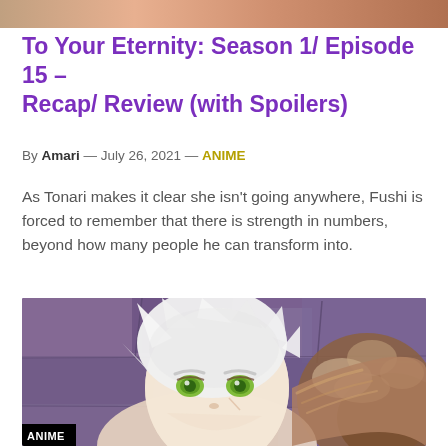[Figure (photo): Top banner image showing an orange/brown anime scene banner strip]
To Your Eternity: Season 1/ Episode 15 – Recap/ Review (with Spoilers)
By Amari — July 26, 2021 — ANIME
As Tonari makes it clear she isn't going anywhere, Fushi is forced to remember that there is strength in numbers, beyond how many people he can transform into.
[Figure (photo): Anime screenshot of a white-haired character with green eyes wearing a brown fur-collared coat, looking upward with a serious expression. Purple stone background. ANIME label in bottom left corner.]